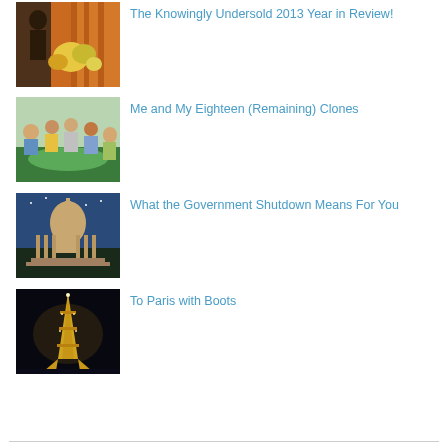[Figure (photo): Person near orange curtain and flowers]
The Knowingly Undersold 2013 Year in Review!
[Figure (photo): Group of people around a table]
Me and My Eighteen (Remaining) Clones
[Figure (photo): US Capitol building at dusk]
What the Government Shutdown Means For You
[Figure (photo): Eiffel Tower lit up at night]
To Paris with Boots